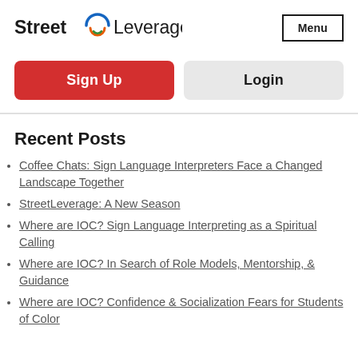[Figure (logo): Street Leverage logo with circular icon in blue, orange, and green]
Menu
Sign Up
Login
Recent Posts
Coffee Chats: Sign Language Interpreters Face a Changed Landscape Together
StreetLeverage: A New Season
Where are IOC? Sign Language Interpreting as a Spiritual Calling
Where are IOC? In Search of Role Models, Mentorship, & Guidance
Where are IOC? Confidence & Socialization Fears for Students of Color